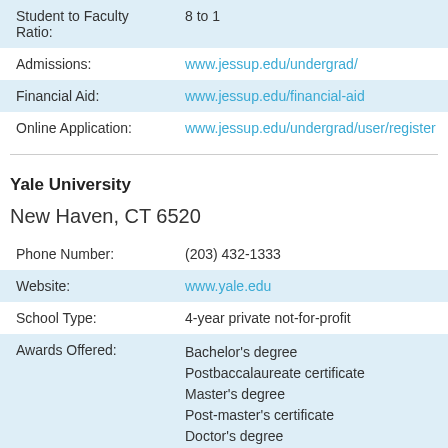| Field | Value |
| --- | --- |
| Student to Faculty Ratio: | 8 to 1 |
| Admissions: | www.jessup.edu/undergrad/ |
| Financial Aid: | www.jessup.edu/financial-aid |
| Online Application: | www.jessup.edu/undergrad/user/register |
Yale University
New Haven, CT 6520
| Field | Value |
| --- | --- |
| Phone Number: | (203) 432-1333 |
| Website: | www.yale.edu |
| School Type: | 4-year private not-for-profit |
| Awards Offered: | Bachelor's degree
Postbaccalaureate certificate
Master's degree
Post-master's certificate
Doctor's degree
Doctor's degree – other |